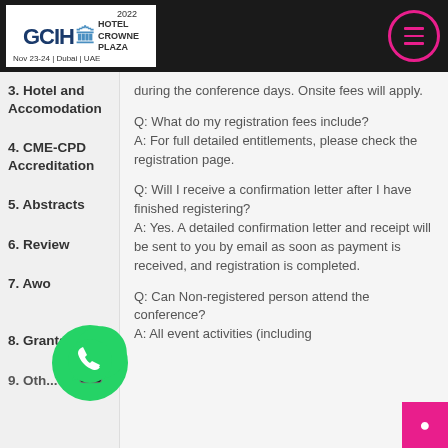GCIH 2022 | HOTEL CROWNE PLAZA | Nov 23-24 | Dubai | UAE
3. Hotel and Accomodation
4. CME-CPD Accreditation
5. Abstracts
6. Review
7. Awa...
8. Grants
during the conference days. Onsite fees will apply.
Q: What do my registration fees include? A: For full detailed entitlements, please check the registration page.
Q: Will I receive a confirmation letter after I have finished registering? A: Yes. A detailed confirmation letter and receipt will be sent to you by email as soon as payment is received, and registration is completed.
Q: Can Non-registered person attend the conference? A: All event activities (including